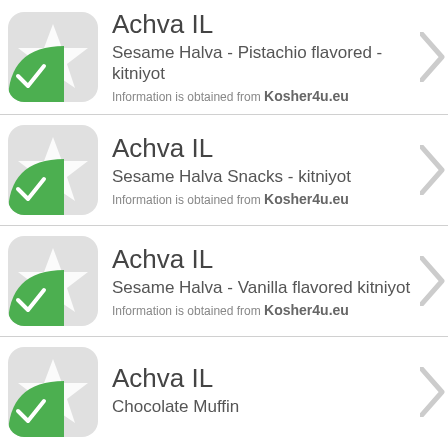Achva IL
Sesame Halva - Pistachio flavored - kitniyot
Information is obtained from Kosher4u.eu
Achva IL
Sesame Halva Snacks - kitniyot
Information is obtained from Kosher4u.eu
Achva IL
Sesame Halva - Vanilla flavored kitniyot
Information is obtained from Kosher4u.eu
Achva IL
Chocolate Muffin